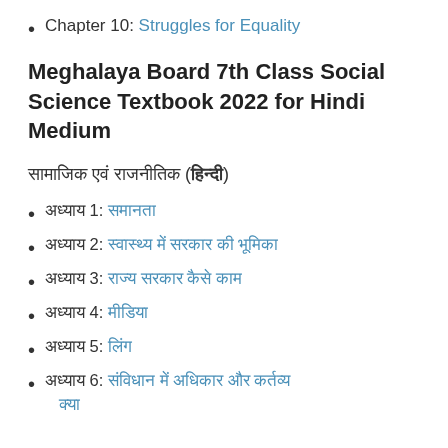Chapter 10: Struggles for Equality
Meghalaya Board 7th Class Social Science Textbook 2022 for Hindi Medium
सामाजिक एवं राजनीतिक (हिन्दी)
अध्याय 1: समानता
अध्याय 2: स्वास्थ्य में सरकार की भूमिका
अध्याय 3: राज्य सरकार कैसे काम
अध्याय 4: मीडिया
अध्याय 5: लिंग
अध्याय 6: संविधान में अधिकार और कर्तव्य